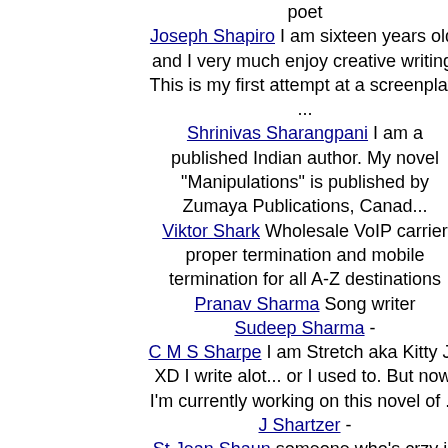poet Joseph Shapiro I am sixteen years old, and I very much enjoy creative writing. This is my first attempt at a screenplay, ...
Shrinivas Sharangpani I am a published Indian author. My novel "Manipulations" is published by Zumaya Publications, Canad...
Viktor Shark Wholesale VoIP carrier proper termination and mobile termination for all A-Z destinations
Pranav Sharma Song writer
Sudeep Sharma -
C M S Sharpe I am Stretch aka Kitty Jr. XD I write alot... or I used to. But now, I'm currently working on this novel of ...
J Shartzer -
St Jean Shaun someone who's crzy in love with stacie
Gerald E Sheagren I'm a fifty-five-year-old, balding, white-bearded, slightly pudgy factory worker from Torrington, Conne...
Jonathan Shearer Jonathan Shearer was born and raised in the West of Scotland. After attending Edinburgh, Kent and Cambri...
Thomasina B Shearer -
Sime Sheef I'm a published teenage